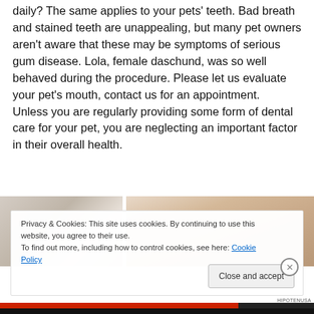daily? The same applies to your pets' teeth. Bad breath and stained teeth are unappealing, but many pet owners aren't aware that these may be symptoms of serious gum disease. Lola, female daschund, was so well behaved during the procedure. Please let us evaluate your pet's mouth, contact us for an appointment. Unless you are regularly providing some form of dental care for your pet, you are neglecting an important factor in their overall health.
[Figure (photo): Two side-by-side photos partially visible — left shows a light-colored interior background, right shows a close-up of what appears to be animal skin/fur in warm tones.]
Privacy & Cookies: This site uses cookies. By continuing to use this website, you agree to their use.
To find out more, including how to control cookies, see here: Cookie Policy